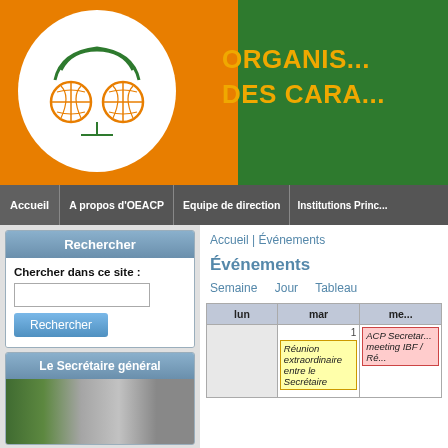[Figure (logo): OEACP organization logo - orange background with white circle containing green ACP logo, and green right section with gold text ORGANIS... DES CARA...]
ORGANIS... DES CARA...
Accueil | A propos d'OEACP | Equipe de direction | Institutions Princ...
Rechercher
Chercher dans ce site :
Le Secrétaire général
Accueil | Événements
Événements
Semaine   Jour   Tableau
| lun | mar | me... |
| --- | --- | --- |
|  | Réunion extraordinaire entre le Secrétaire | ACP Secretar... meeting IBF / Ré... |